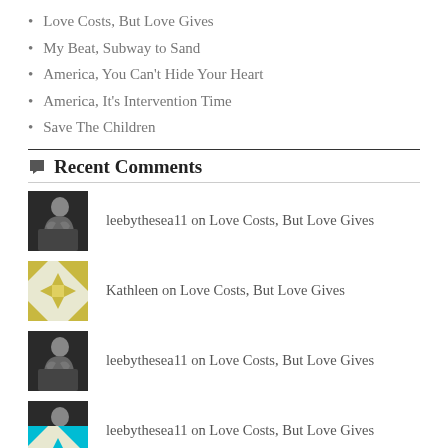Love Costs, But Love Gives
My Beat, Subway to Sand
America, You Can't Hide Your Heart
America, It's Intervention Time
Save The Children
Recent Comments
leebythesea11 on Love Costs, But Love Gives
Kathleen on Love Costs, But Love Gives
leebythesea11 on Love Costs, But Love Gives
leebythesea11 on Love Costs, But Love Gives